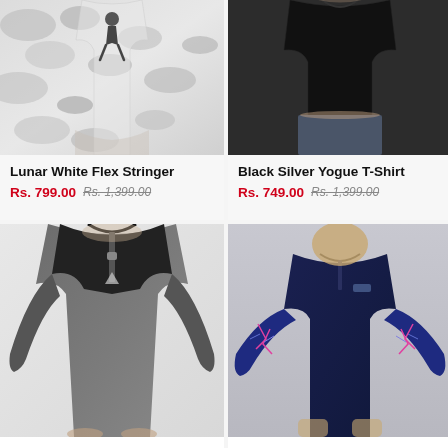[Figure (photo): Man wearing white camouflage sleeveless stringer tank top with dark silhouette graphic print]
Lunar White Flex Stringer
Rs. 799.00 Rs. 1,399.00
[Figure (photo): Man wearing black crew neck t-shirt with grey shorts]
Black Silver Yogue T-Shirt
Rs. 749.00 Rs. 1,399.00
[Figure (photo): Man wearing grey and black two-tone long sleeve quarter zip pullover]
[Figure (photo): Man wearing navy blue t-shirt with blue and pink graphic cracked pattern on sleeves and small logo on chest]